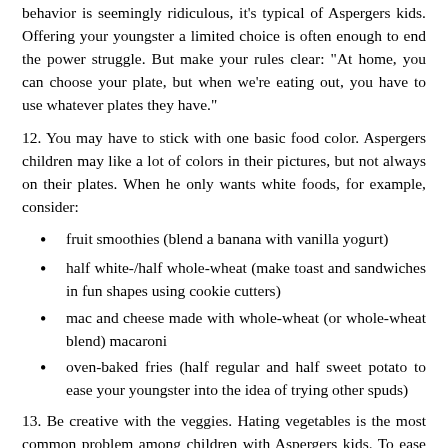behavior is seemingly ridiculous, it's typical of Aspergers kids. Offering your youngster a limited choice is often enough to end the power struggle. But make your rules clear: "At home, you can choose your plate, but when we're eating out, you have to use whatever plates they have."
12. You may have to stick with one basic food color. Aspergers children may like a lot of colors in their pictures, but not always on their plates. When he only wants white foods, for example, consider:
fruit smoothies (blend a banana with vanilla yogurt)
half white-/half whole-wheat (make toast and sandwiches in fun shapes using cookie cutters)
mac and cheese made with whole-wheat (or whole-wheat blend) macaroni
oven-baked fries (half regular and half sweet potato to ease your youngster into the idea of trying other spuds)
13. Be creative with the veggies. Hating vegetables is the most common problem among children with Aspergers kids. To ease into